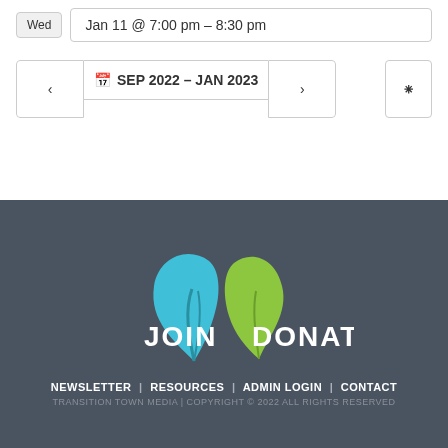Wed
Jan 11 @ 7:00 pm – 8:30 pm
SEP 2022 – JAN 2023
[Figure (logo): Transition Town Media logo with blue and green leaf shapes, JOIN and DONATE text in white]
NEWSLETTER | RESOURCES | ADMIN LOGIN | CONTACT
TRANSITION TOWN MEDIA | COPYRIGHT © 2022 ALL RIGHTS RESERVED